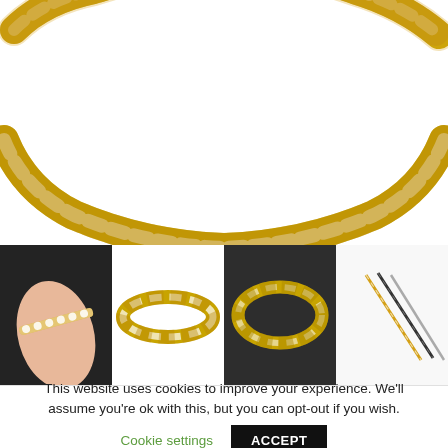[Figure (photo): Close-up photo of a gold tennis necklace with clear crystal/diamond-like stones set in gold-toned metal links, shown against a white background]
[Figure (photo): Four thumbnail images side by side: (1) Woman's wrist wearing a diamond tennis bracelet on dark background, (2) Gold tennis bracelet with large clear stones on white background, (3) Gold tennis bracelet shown from above on dark background, (4) Two thin chain bracelets (gold and black/dark) on white background]
This website uses cookies to improve your experience. We'll assume you're ok with this, but you can opt-out if you wish.
Cookie settings
ACCEPT